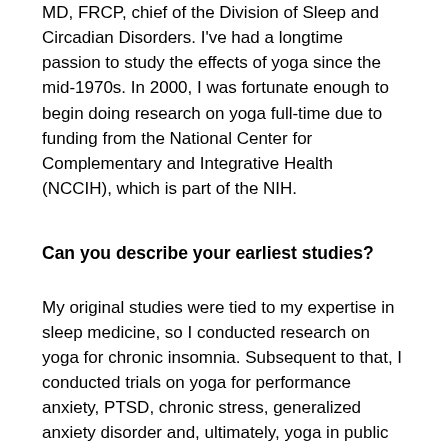MD, FRCP, chief of the Division of Sleep and Circadian Disorders. I've had a longtime passion to study the effects of yoga since the mid-1970s. In 2000, I was fortunate enough to begin doing research on yoga full-time due to funding from the National Center for Complementary and Integrative Health (NCCIH), which is part of the NIH.
Can you describe your earliest studies?
My original studies were tied to my expertise in sleep medicine, so I conducted research on yoga for chronic insomnia. Subsequent to that, I conducted trials on yoga for performance anxiety, PTSD, chronic stress, generalized anxiety disorder and, ultimately, yoga in public schools and for frontline professionals in workplace settings for mental health benefits.
What are you currently working on?
We recently completed a study with middle school students